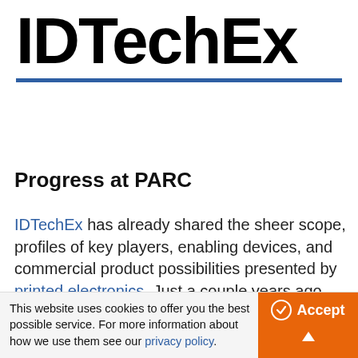IDTechEx
Progress at PARC
IDTechEx has already shared the sheer scope, profiles of key players, enabling devices, and commercial product possibilities presented by printed electronics. Just a couple years ago, we tracked 500 organizations (50% universities & research institutes, 50% corporations) developing printed or organic transistors and found that the combined commercial
This website uses cookies to offer you the best possible service. For more information about how we use them see our privacy policy.